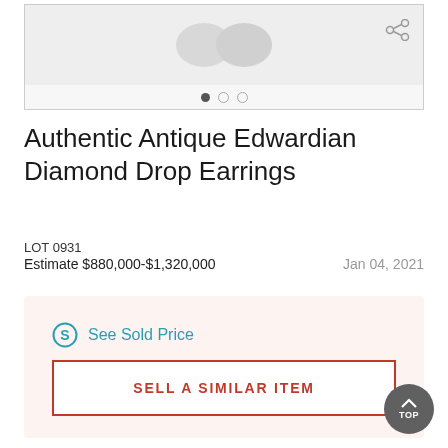[Figure (photo): Product image area for antique earrings with navigation dots and share icon]
Authentic Antique Edwardian Diamond Drop Earrings
LOT 0931
Estimate $880,000-$1,320,000    Jan 04, 2021
See Sold Price
SELL A SIMILAR ITEM